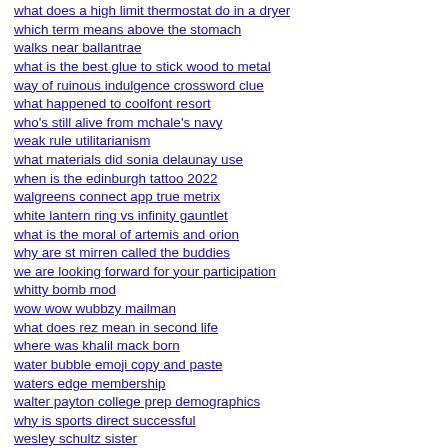what does a high limit thermostat do in a dryer
which term means above the stomach
walks near ballantrae
what is the best glue to stick wood to metal
way of ruinous indulgence crossword clue
what happened to coolfont resort
who's still alive from mchale's navy
weak rule utilitarianism
what materials did sonia delaunay use
when is the edinburgh tattoo 2022
walgreens connect app true metrix
white lantern ring vs infinity gauntlet
what is the moral of artemis and orion
why are st mirren called the buddies
we are looking forward for your participation
whitty bomb mod
wow wow wubbzy mailman
what does rez mean in second life
where was khalil mack born
water bubble emoji copy and paste
waters edge membership
walter payton college prep demographics
why is sports direct successful
wesley schultz sister
what does ymb mean in the last mrs parrish